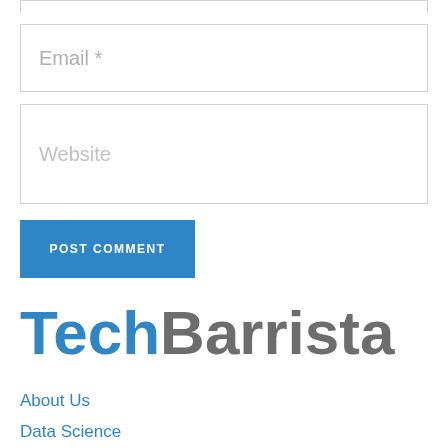Email *
Website
POST COMMENT
TechBarrista
About Us
Data Science
Advertising